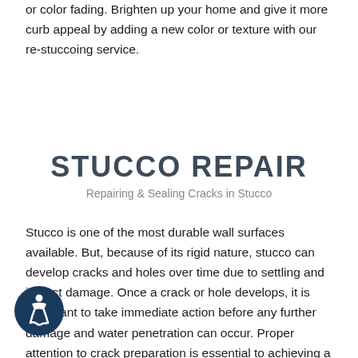or color fading. Brighten up your home and give it more curb appeal by adding a new color or texture with our re-stuccoing service.
STUCCO REPAIR
Repairing & Sealing Cracks in Stucco
Stucco is one of the most durable wall surfaces available. But, because of its rigid nature, stucco can develop cracks and holes over time due to settling and impact damage. Once a crack or hole develops, it is important to take immediate action before any further damage and water penetration can occur. Proper attention to crack preparation is essential to achieving a